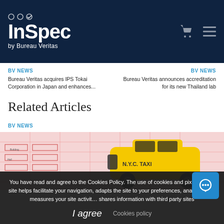InSpec by Bureau Veritas
BV NEWS
Bureau Veritas acquires IPS Tokai Corporation in Japan and enhances...
BV NEWS
Bureau Veritas announces accreditation for its new Thailand lab
Related Articles
BV NEWS
[Figure (photo): Yellow NYC taxi toy car on a map]
You have read and agree to the Cookies Policy. The use of cookies and pixels in this site helps facilitate your navigation, adapts the site to your preferences, analyzes and measures your site activity, shares information with third party sites
I agree   Cookies policy